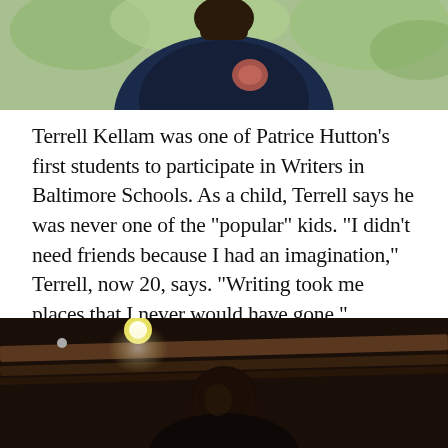[Figure (photo): Partial photo of a person wearing a dark navy blue shirt, cropped at the top of the page showing shoulders and lower face area against a green outdoor background.]
Terrell Kellam was one of Patrice Hutton’s first students to participate in Writers in Baltimore Schools.  As a child, Terrell says he was never one of the “popular” kids. “I didn’t need friends because I had an imagination,” Terrell, now 20, says. “Writing took me places that I never would have gone.”
[Figure (photo): Photo of a young person with head bowed or looking down, in a dimly lit indoor space with ceiling beams and overhead spotlights visible.]